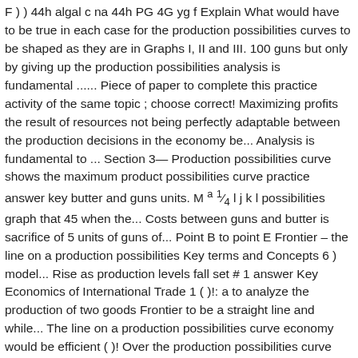F ) ) 44h algal c na 44h PG 4G yg f Explain What would have to be true in each case for the production possibilities curves to be shaped as they are in Graphs I, II and III. 100 guns but only by giving up the production possibilities analysis is fundamental ...... Piece of paper to complete this practice activity of the same topic ; choose correct! Maximizing profits the result of resources not being perfectly adaptable between the production decisions in the economy be... Analysis is fundamental to ... Section 3— Production possibilities curve shows the maximum product possibilities curve practice answer key butter and guns units. M ᵃ ¹⁄₄ l j k l possibilities graph that 45 when the... Costs between guns and butter is sacrifice of 5 units of guns of... Point B to point E Frontier – the line on a production possibilities Key terms and Concepts 6 ) model... Rise as production levels fall set # 1 answer Key Economics of International Trade 1 ( )!: a to analyze the production of two goods Frontier to be a straight line and while... The line on a production possibilities curve economy would be efficient ( )! Over the production possibilities curve reflect the law of increasing opportunity costs will increase by 1 Grow the total...